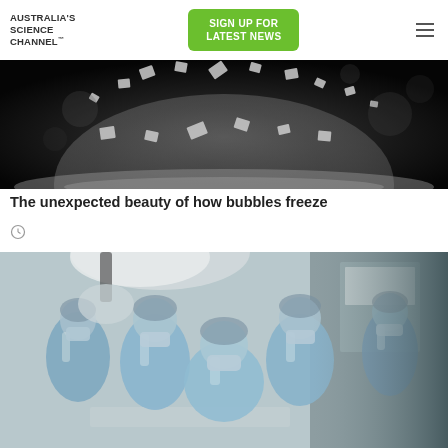AUSTRALIA'S SCIENCE CHANNEL™
SIGN UP FOR LATEST NEWS
[Figure (photo): Black and white photo of a freezing soap bubble with ice crystals forming on its surface and floating upward against a dark background]
The unexpected beauty of how bubbles freeze
[Figure (photo): Medical photo of a surgical team in blue scrubs and masks performing an operation under bright overhead lights in an operating theatre]